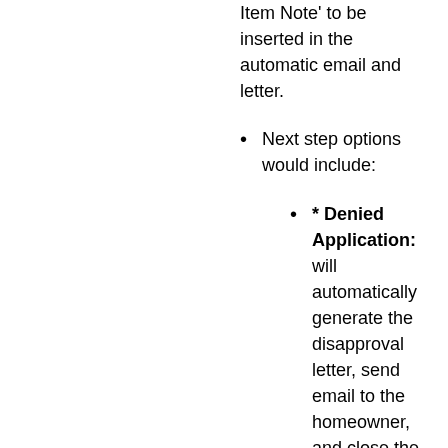Item Note' to be inserted in the automatic email and letter.
Next step options would include:
* Denied Application: will automatically generate the disapproval letter, send email to the homeowner, and close the action item. . The reason for the denial should be added to the 'Action Item Note' to be